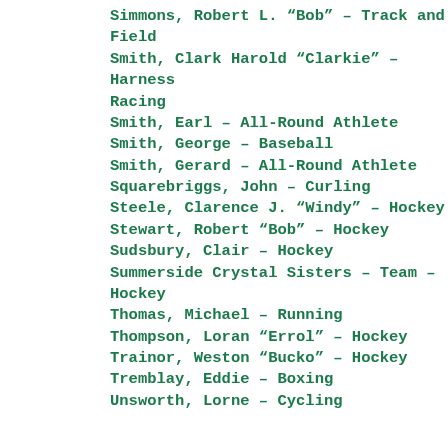Simmons, Robert L. “Bob” – Track and Field
Smith, Clark Harold “Clarkie” – Harness Racing
Smith, Earl – All-Round Athlete
Smith, George – Baseball
Smith, Gerard – All-Round Athlete
Squarebriggs, John – Curling
Steele, Clarence J. “Windy” – Hockey
Stewart, Robert “Bob” – Hockey
Sudsbury, Clair – Hockey
Summerside Crystal Sisters – Team – Hockey
Thomas, Michael – Running
Thompson, Loran “Errol” – Hockey
Trainor, Weston “Bucko” – Hockey
Tremblay, Eddie – Boxing
Unsworth, Lorne – Cycling